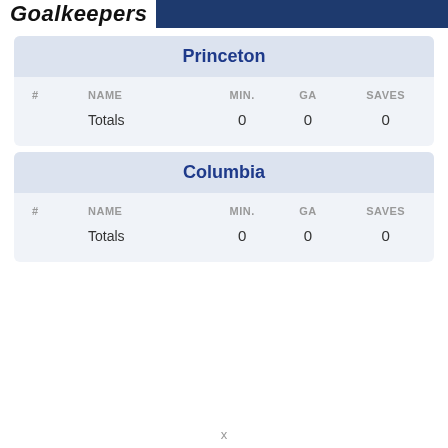Goalkeepers
Princeton
| # | NAME | MIN. | GA | SAVES |
| --- | --- | --- | --- | --- |
|  | Totals | 0 | 0 | 0 |
Columbia
| # | NAME | MIN. | GA | SAVES |
| --- | --- | --- | --- | --- |
|  | Totals | 0 | 0 | 0 |